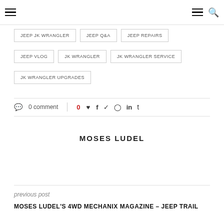Navigation bar with hamburger menu and search icon
JEEP JK WRANGLER
JEEP Q&A
JEEP REPAIRS
JEEP VLOG
JK WRANGLER
JK WRANGLER SERVICE
JK WRANGLER UPGRADES
0 comment | 0 ♥ f ✦ ⊕ in t
MOSES LUDEL
previous post
MOSES LUDEL'S 4WD MECHANIX MAGAZINE – JEEP TRAIL